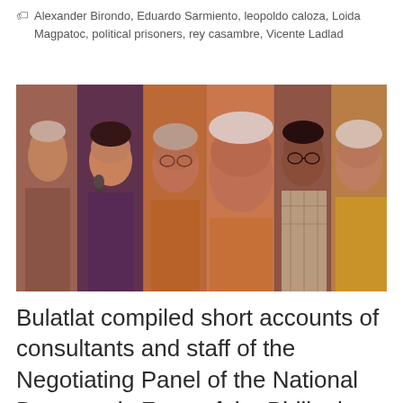Alexander Birondo, Eduardo Sarmiento, leopoldo caloza, Loida Magpatoc, political prisoners, rey casambre, Vicente Ladlad
[Figure (photo): A collage-style photo showing six elderly Filipino individuals side by side, with warm tones. The image appears to show consultants and staff members.]
Bulatlat compiled short accounts of consultants and staff of the Negotiating Panel of the National Democratic Front of the Philippines, who were arrested and jailed during the dark years of the